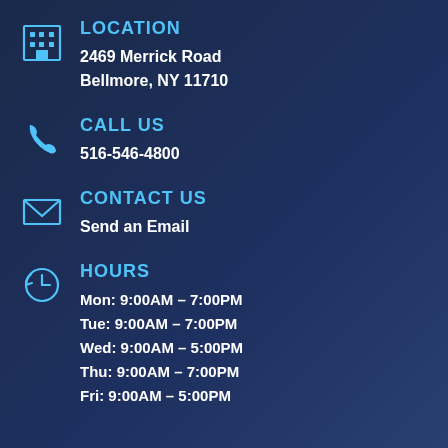LOCATION
2469 Merrick Road
Bellmore, NY 11710
CALL US
516-546-4800
CONTACT US
Send an Email
HOURS
Mon: 9:00AM – 7:00PM
Tue: 9:00AM – 7:00PM
Wed: 9:00AM – 5:00PM
Thu: 9:00AM – 7:00PM
Fri: 9:00AM – 5:00PM